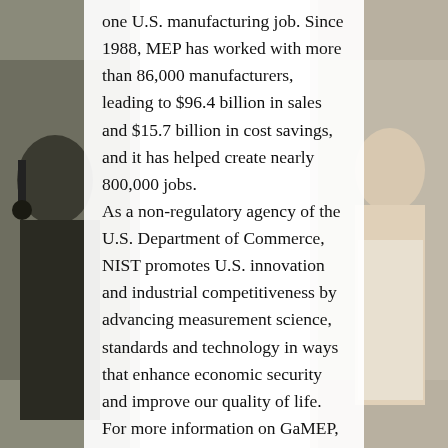[Figure (photo): Background photo showing people in a workplace/manufacturing or office setting, partially obscured by white text overlay. Left side shows a person with headset/equipment, right side shows a person in a light-colored shirt.]
one U.S. manufacturing job. Since 1988, MEP has worked with more than 86,000 manufacturers, leading to $96.4 billion in sales and $15.7 billion in cost savings, and it has helped create nearly 800,000 jobs.
As a non-regulatory agency of the U.S. Department of Commerce, NIST promotes U.S. innovation and industrial competitiveness by advancing measurement science, standards and technology in ways that enhance economic security and improve our quality of life.
For more information on GaMEP, please